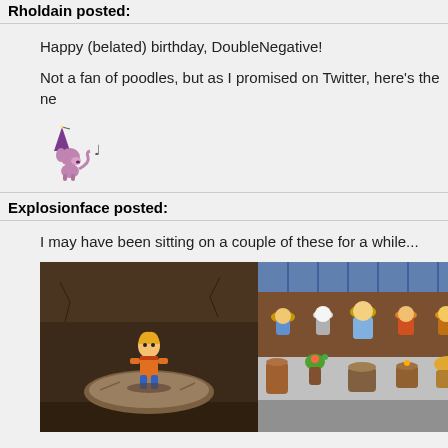Rholdain posted:
Happy (belated) birthday, DoubleNegative!
Not a fan of poodles, but as I promised on Twitter, here's the ne
[Figure (illustration): Small pixel art sprite of a poodle character with a party hat, with a small musical note nearby]
Explosionface posted:
I may have been sitting on a couple of these for a while...
[Figure (screenshot): Two side-by-side retro JRPG screenshots. Left: a character in orange outfit standing on a stone platform in a cave dungeon. Right: a colorful scene with multiple character sprites at what appears to be a feast or gathering, with various food items displayed.]